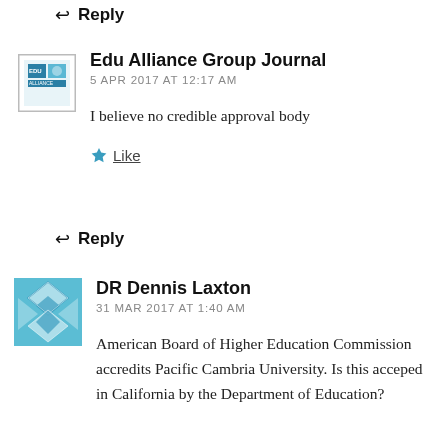↩ Reply
[Figure (logo): Edu Alliance Group Journal logo - small square icon with 'EDU ALLIANCE' text]
Edu Alliance Group Journal
5 APR 2017 AT 12:17 AM
I believe no credible approval body
★ Like
↩ Reply
[Figure (illustration): DR Dennis Laxton avatar - blue and white diamond/geometric pattern tile]
DR Dennis Laxton
31 MAR 2017 AT 1:40 AM
American Board of Higher Education Commission accredits Pacific Cambria University. Is this acceped in California by the Department of Education?